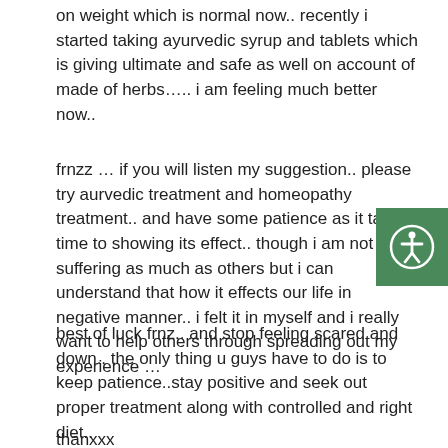on weight which is normal now.. recently i started taking ayurvedic syrup and tablets which is giving ultimate and safe as well on account of made of herbs….. i am feeling much better now..
frnzz … if you will listen my suggestion.. please try aurvedic treatment and homeopathy treatment.. and have some patience as it takes time to showing its effect.. though i am not suffering as much as others but i can understand that how it effects our life in negative manner.. i felt it in myself and i really want to help others through spreading out my experience …
best of luck frnz.. and stop feeling scared and down.. the only thing u guys have to do is to keep patience..stay positive and seek out proper treatment along with controlled and right diet..
thanxxx